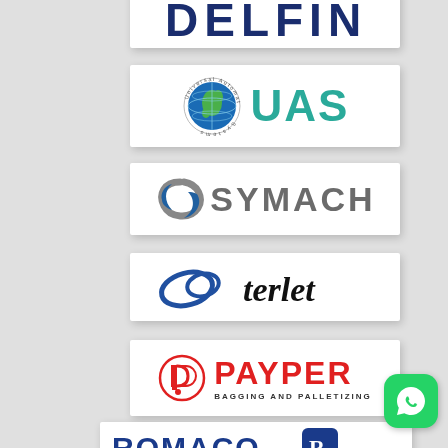[Figure (logo): DELFIN logo - bold navy blue text, partially visible at top]
[Figure (logo): UAS (Universal Automated Systems) logo - globe icon with teal UAS text]
[Figure (logo): SYMACH logo - grey swoosh icon with SYMACH text]
[Figure (logo): terlet logo - stylized loops with terlet text]
[Figure (logo): PAYPER BAGGING AND PALLETIZING logo - red bold text with circular P icon]
[Figure (logo): ROMACO beyond technology logo - dark blue text with R icon, partially visible]
[Figure (logo): WhatsApp icon button - green rounded square with phone icon]